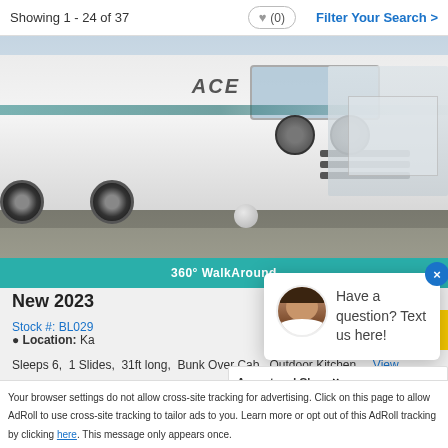Showing 1 - 24 of 37   ♥ (0)   Filter Your Search >
[Figure (photo): Exterior photo of a white 2023 Thor ACE Class A motorhome parked in a dealership lot, front and side view visible. Other RVs visible in background.]
360° WalkAround
New 2023
Stock #: BL029
Location: Ka
Sleeps 6,  1 Slides,  31ft long,  Bunk Over Cab,  Outdoor Kitchen  ...View
Have a question? Text us here!
Accept and Close ×
Your browser settings do not allow cross-site tracking for advertising. Click on this page to allow AdRoll to use cross-site tracking to tailor ads to you. Learn more or opt out of this AdRoll tracking by clicking here. This message only appears once.